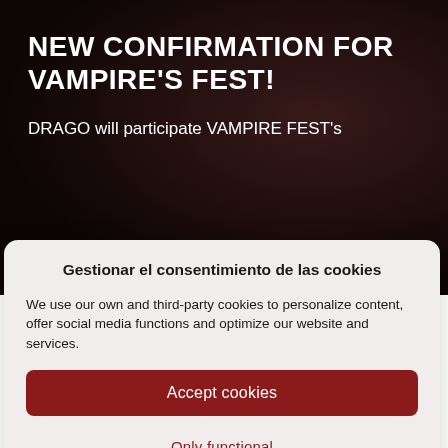NEW CONFIRMATION FOR VAMPIRE'S FEST!
DRAGO will participate VAMPIRE FEST's
Gestionar el consentimiento de las cookies
We use our own and third-party cookies to personalize content, offer social media functions and optimize our website and services.
Accept cookies
Only functional
View preferences